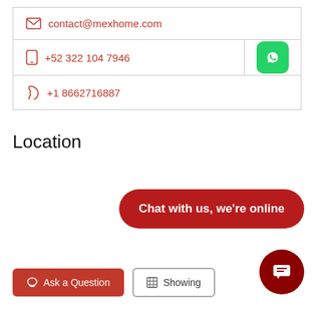contact@mexhome.com
+52 322 104 7946
+1 8662716887
Location
Chat with us, we're online
Ask a Question
Showing